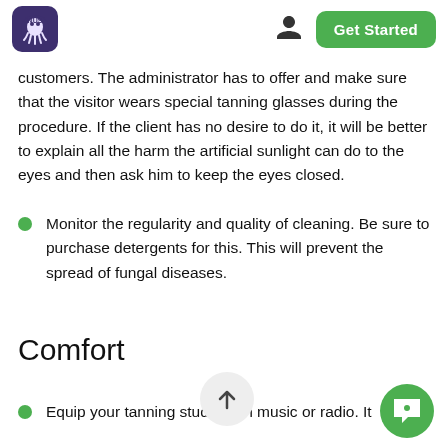Get Started
customers. The administrator has to offer and make sure that the visitor wears special tanning glasses during the procedure. If the client has no desire to do it, it will be better to explain all the harm the artificial sunlight can do to the eyes and then ask him to keep the eyes closed.
Monitor the regularity and quality of cleaning. Be sure to purchase detergents for this. This will prevent the spread of fungal diseases.
Comfort
Equip your tanning studio with music or radio. It